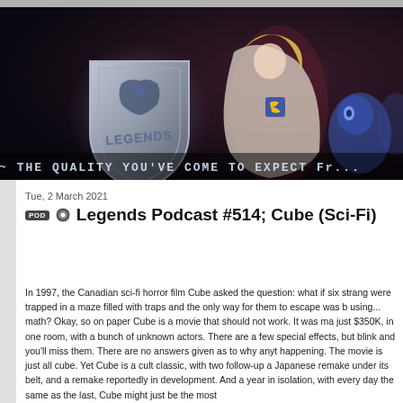[Figure (illustration): Banner image for Legends Podcast website. Left side shows a silver shield logo with 'LEGENDS' text and a dragon/lion emblem. Right side features a female superhero (Supergirl-style) in action pose with blue alien characters in background. Dark atmospheric background. Text at bottom reads '~ THE QUALITY YOU'VE COME TO EXPECT Fr...']
Tue, 2 March 2021
Legends Podcast #514; Cube (Sci-Fi)
In 1997, the Canadian sci-fi horror film Cube asked the question: what if six strang were trapped in a maze filled with traps and the only way for them to escape was b using... math? Okay, so on paper Cube is a movie that should not work. It was ma just $350K, in one room, with a bunch of unknown actors. There are a few special effects, but blink and you'll miss them. There are no answers given as to why anyt happening. The movie is just all cube. Yet Cube is a cult classic, with two follow-up a Japanese remake under its belt, and a remake reportedly in development. And a year in isolation, with every day the same as the last, Cube might just be the most